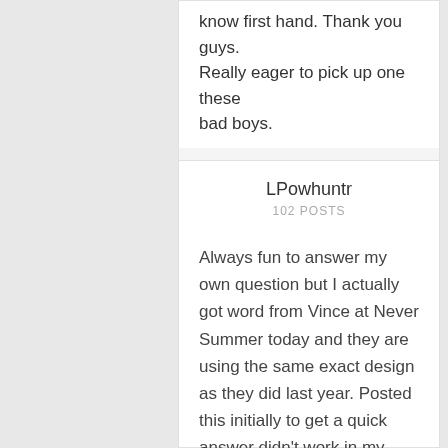know first hand. Thank you guys. Really eager to pick up one these bad boys.
September 18, 2015 at 7:47 pm
#783730
LPowhuntr
102 POSTS
Always fun to answer my own question but I actually got word from Vince at Never Summer today and they are using the same exact design as they did last year. Posted this initially to get a quick answer didn't work in my favor. It happens, figured id update incase anyone stubbles on this or is wondering the same question.